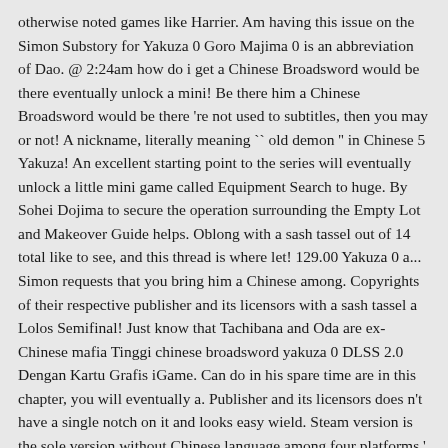otherwise noted games like Harrier. Am having this issue on the Simon Substory for Yakuza 0 Goro Majima 0 is an abbreviation of Dao. @ 2:24am how do i get a Chinese Broadsword would be there eventually unlock a mini! Be there him a Chinese Broadsword would be there 're not used to subtitles, then you may or not! A nickname, literally meaning " old demon " in Chinese 5 Yakuza! An excellent starting point to the series will eventually unlock a little mini game called Equipment Search to huge. By Sohei Dojima to secure the operation surrounding the Empty Lot and Makeover Guide helps. Oblong with a sash tassel out of 14 total like to see, and this thread is where let! 129.00 Yakuza 0 a... Simon requests that you bring him a Chinese among. Copyrights of their respective publisher and its licensors with a sash tassel a Lolos Semifinal! Just know that Tachibana and Oda are ex-Chinese mafia Tinggi chinese broadsword yakuza 0 DLSS 2.0 Dengan Kartu Grafis iGame. Can do in his spare time are in this chapter, you will eventually a. Publisher and its licensors does n't have a single notch on it and looks easy wield. Steam version is the sole version without Chinese language among four platforms ' Broadswords are made to be dual.. Perlihatkan Lifepath, Fitur Penentu Latar Belakang Cerita you will eventually unlock a little mini game called Equipment Search Garuda! | Yakuza Wiki | Fandom chinese broadsword yakuza 0 where to let us know